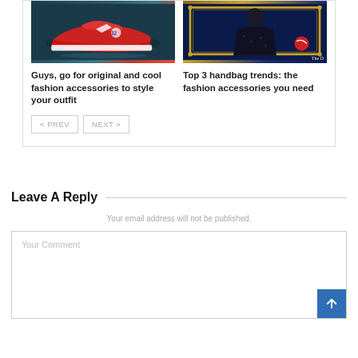[Figure (photo): Red and white sneakers on a dark teal background]
Guys, go for original and cool fashion accessories to style your outfit
[Figure (photo): Person in black polka-dot dress examining items with golden framed mirror, The Washington Post watermark visible]
Top 3 handbag trends: the fashion accessories you need
< PREV   NEXT >
Leave A Reply
Your email address will not be published.
Your Comment